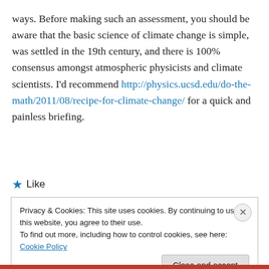ways. Before making such an assessment, you should be aware that the basic science of climate change is simple, was settled in the 19th century, and there is 100% consensus amongst atmospheric physicists and climate scientists. I'd recommend http://physics.ucsd.edu/do-the-math/2011/08/recipe-for-climate-change/ for a quick and painless briefing.
★ Like
Privacy & Cookies: This site uses cookies. By continuing to use this website, you agree to their use. To find out more, including how to control cookies, see here: Cookie Policy
Close and accept